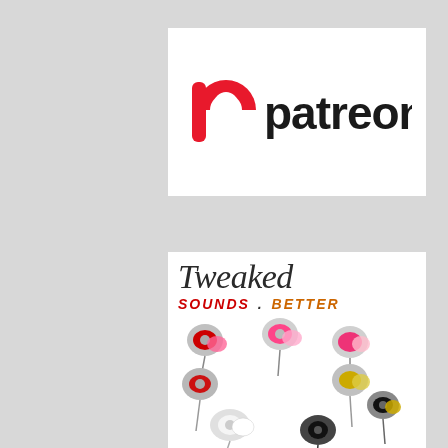[Figure (logo): Patreon logo — red swirl P icon followed by the word 'patreon' in black rounded sans-serif font, on white background]
[Figure (illustration): Tweaked earbuds product image — text 'Tweaked SOUNDS.BETTER' above colorful in-ear earphones (red, gold, black/white variants) on white background]